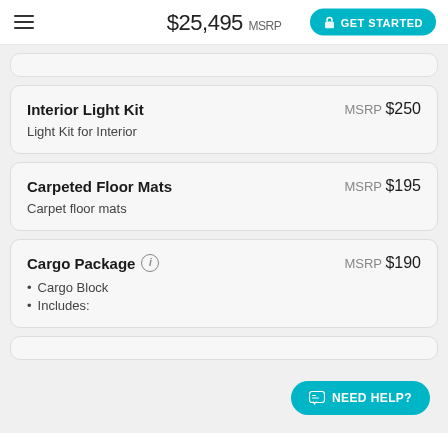$25,495 MSRP  GET STARTED
Interior Light Kit  MSRP $250
Light Kit for Interior
Carpeted Floor Mats  MSRP $195
Carpet floor mats
Cargo Package  MSRP $190
Cargo Block
Includes: